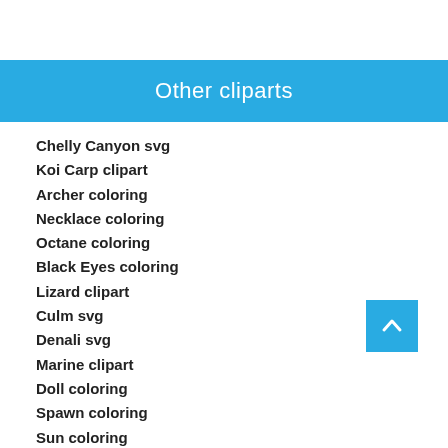Other cliparts
Chelly Canyon svg
Koi Carp clipart
Archer coloring
Necklace coloring
Octane coloring
Black Eyes coloring
Lizard clipart
Culm svg
Denali svg
Marine clipart
Doll coloring
Spawn coloring
Sun coloring
Frozen (Movie) coloring
Passion Flower clipart
Icicle svg